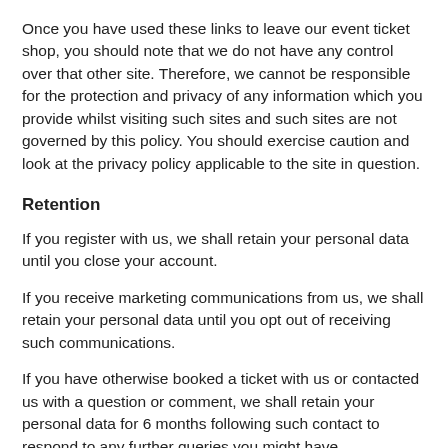Once you have used these links to leave our event ticket shop, you should note that we do not have any control over that other site. Therefore, we cannot be responsible for the protection and privacy of any information which you provide whilst visiting such sites and such sites are not governed by this policy. You should exercise caution and look at the privacy policy applicable to the site in question.
Retention
If you register with us, we shall retain your personal data until you close your account.
If you receive marketing communications from us, we shall retain your personal data until you opt out of receiving such communications.
If you have otherwise booked a ticket with us or contacted us with a question or comment, we shall retain your personal data for 6 months following such contact to respond to any further queries you might have.
General
If any provision of this policy is held by a court of competent